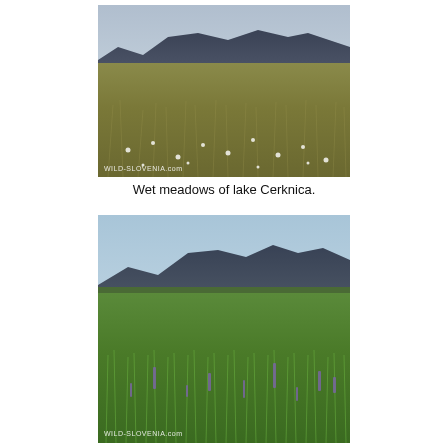[Figure (photo): Wide landscape photo of wet meadows with yellowed grasses and wildflowers in foreground, dark mountain range in background under a cloudy blue-grey sky. Watermark: WILD-SLOVENIA.com]
Wet meadows of lake Cerknica.
[Figure (photo): Wide landscape photo of wet meadows with lush green grass in foreground, some purple wildflowers scattered, dark mountain range in background under a pale blue sky. Watermark: WILD-SLOVENIA.com]